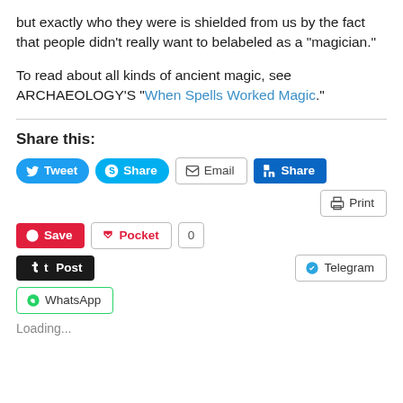but exactly who they were is shielded from us by the fact that people didn't really want to belabeled as a "magician."
To read about all kinds of ancient magic, see ARCHAEOLOGY'S "When Spells Worked Magic."
Share this:
[Figure (infographic): Social sharing buttons: Tweet, Share (Skype), Email, Share (LinkedIn), Print, Save (Pinterest), Pocket, 0, Post (Tumblr), Telegram, WhatsApp]
Loading...